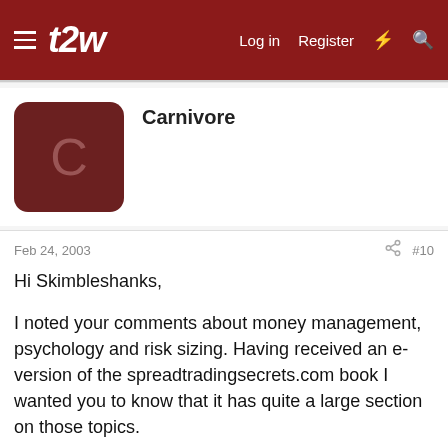[Figure (logo): t2w forum website navigation bar with logo, hamburger menu, Log in, Register, lightning bolt and search icons on dark red background]
Carnivore
Feb 24, 2003
#10
Hi Skimbleshanks,

I noted your comments about money management, psychology and risk sizing. Having received an e-version of the spreadtradingsecrets.com book I wanted you to know that it has quite a large section on those topics.

The book is called Principles of Profit and it explains what makes successful traders and the principles they follow that allow them to get there.

The author is an Australian financial advisor who...